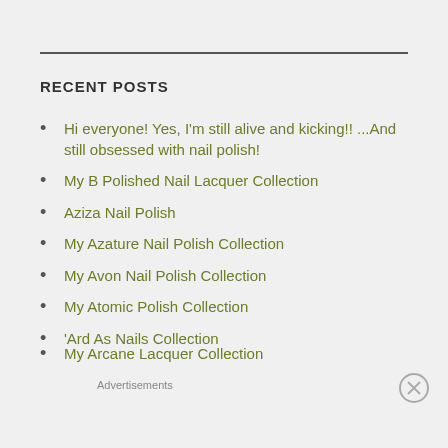RECENT POSTS
Hi everyone! Yes, I'm still alive and kicking!! ...And still obsessed with nail polish!
My B Polished Nail Lacquer Collection
Aziza Nail Polish
My Azature Nail Polish Collection
My Avon Nail Polish Collection
My Atomic Polish Collection
'Ard As Nails Collection
My Arcane Lacquer Collection
Advertisements